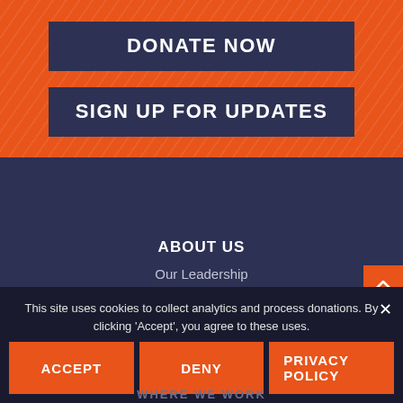DONATE NOW
SIGN UP FOR UPDATES
ABOUT US
Our Leadership
Our Strategic Framework
About Giving
Media Center
This site uses cookies to collect analytics and process donations. By clicking 'Accept', you agree to these uses.
ACCEPT
DENY
PRIVACY POLICY
WHERE WE WORK